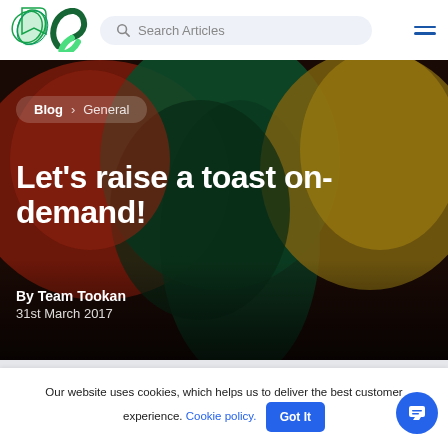Search Articles
[Figure (logo): Tookan green stylized bookmark/checkmark logo]
Blog > General
Let's raise a toast on-demand!
By Team Tookan
31st March 2017
Our website uses cookies, which helps us to deliver the best customer experience. Cookie policy. Got It